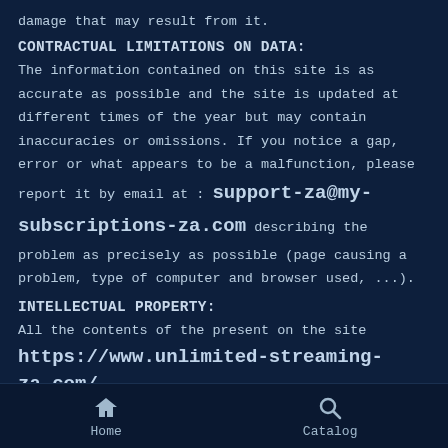damage that may result from it.
CONTRACTUAL LIMITATIONS ON DATA:
The information contained on this site is as accurate as possible and the site is updated at different times of the year but may contain inaccuracies or omissions. If you notice a gap, error or what appears to be a malfunction, please report it by email at : support-za@my-subscriptions-za.com describing the problem as precisely as possible (page causing a problem, type of computer and browser used, ...).
INTELLECTUAL PROPERTY:
All the contents of the present on the site https://www.unlimited-streaming-za.com/, including, but not limited to, graphics, images, texts
Home   Catalog